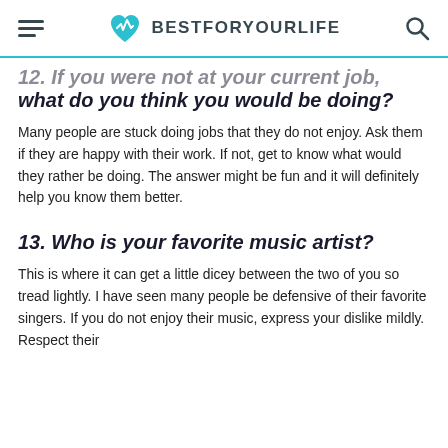BESTFORYOURLIFE
12. If you were not at your current job, what do you think you would be doing?
Many people are stuck doing jobs that they do not enjoy. Ask them if they are happy with their work. If not, get to know what would they rather be doing. The answer might be fun and it will definitely help you know them better.
13. Who is your favorite music artist?
This is where it can get a little dicey between the two of you so tread lightly. I have seen many people be defensive of their favorite singers. If you do not enjoy their music, express your dislike mildly. Respect their